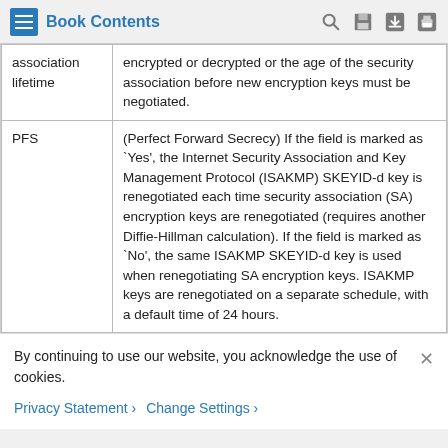Book Contents
|  |  |
| --- | --- |
| association lifetime | encrypted or decrypted or the age of the security association before new encryption keys must be negotiated. |
| PFS | (Perfect Forward Secrecy) If the field is marked as `Yes', the Internet Security Association and Key Management Protocol (ISAKMP) SKEYID-d key is renegotiated each time security association (SA) encryption keys are renegotiated (requires another Diffie-Hillman calculation). If the field is marked as `No', the same ISAKMP SKEYID-d key is used when renegotiating SA encryption keys. ISAKMP keys are renegotiated on a separate schedule, with a default time of 24 hours. |
By continuing to use our website, you acknowledge the use of cookies.
Privacy Statement > Change Settings >